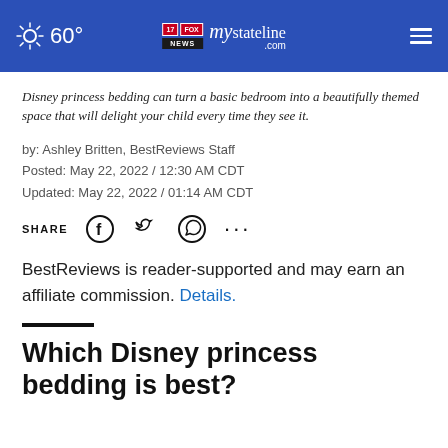60° mystateline.com NEWS
Disney princess bedding can turn a basic bedroom into a beautifully themed space that will delight your child every time they see it.
by: Ashley Britten, BestReviews Staff
Posted: May 22, 2022 / 12:30 AM CDT
Updated: May 22, 2022 / 01:14 AM CDT
SHARE [Facebook] [Twitter] [WhatsApp] [...]
BestReviews is reader-supported and may earn an affiliate commission. Details.
Which Disney princess bedding is best?